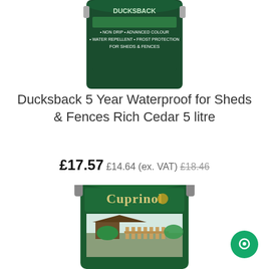[Figure (photo): Top portion of a dark green Ducksback paint can showing product text: NON DRIP, ADVANCED COLOUR, WATER REPELLENT, FROST PROTECTION, FOR SHEDS & FENCES]
Ducksback 5 Year Waterproof for Sheds & Fences Rich Cedar 5 litre
£17.57 £14.64 (ex. VAT) £18.46
[Figure (photo): Bottom portion of a green Cuprinol paint can showing the Cuprinol logo and product imagery of sheds and fences]